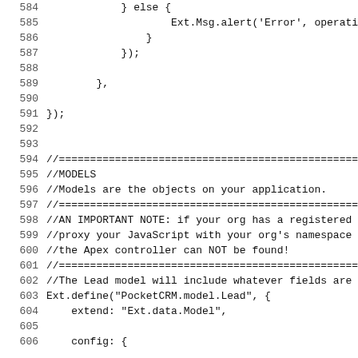584    } else {
585        Ext.Msg.alert('Error', operation.
586            }
587        });
588
589    },
590
591 });
592
593
594 //===================================================
595 //MODELS
596 //Models are the objects on your application.
597 //===================================================
598 //AN IMPORTANT NOTE: if your org has a registered
599 //proxy your JavaScript with your org's namespace
600 //the Apex controller can NOT be found!
601 //===================================================
602 //The Lead model will include whatever fields are
603 Ext.define("PocketCRM.model.Lead", {
604     extend: "Ext.data.Model",
605
606     config: {